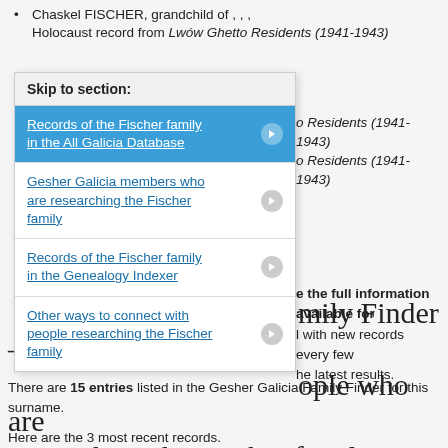Chaskel FISCHER, grandchild of , , , Holocaust record from Lwów Ghetto Residents (1941-1943)
o Residents (1941-1943)
o Residents (1941-1943)
Skip to section:
Records of the Fischer family in the All Galicia Database
Gesher Galicia members who are researching the Fischer family
Records of the Fischer family in the Genealogy Indexer
Other ways to connect with people researching the Fischer family
e the full information available for l with new records every few he latest results.
mily Finder — ople who are researching the Fischer family:
There are 15 entries listed in the Gesher Galicia Family Finder for this surname.
Here are the 3 most recent records.